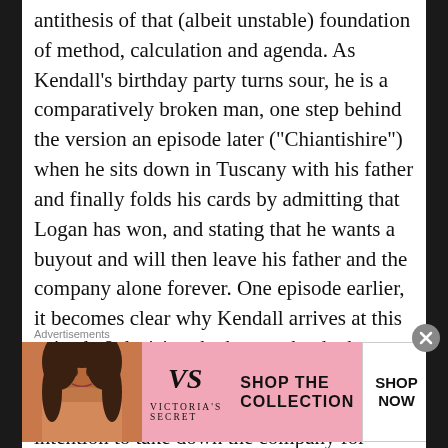antithesis of that (albeit unstable) foundation of method, calculation and agenda. As Kendall's birthday party turns sour, he is a comparatively broken man, one step behind the version an episode later (“Chiantishire”) when he sits down in Tuscany with his father and finally folds his cards by admitting that Logan has won, and stating that he wants a buyout and will then leave his father and the company alone forever. One episode earlier, it becomes clear why Kendall arrives at this episode 8 decision: he knows that he has failed, that no one believes he can turn it around, that he has been pursuing an intention to take down the company for himself rather than for anyone else. In so doing, Kendall has neglected a family that is already slipping through his fingers, something he abruptly
Advertisements
[Figure (photo): Victoria's Secret advertisement banner with a model on the left, VS logo in the center, and 'SHOP THE COLLECTION' text with a 'SHOP NOW' button on the right, pink background.]